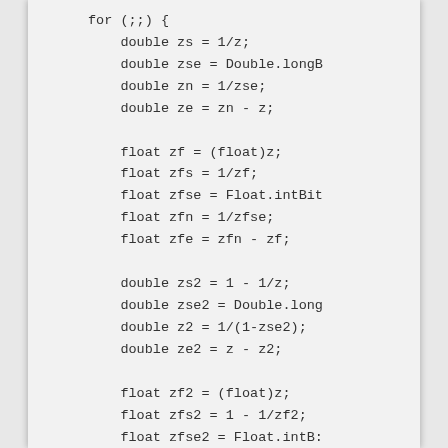for (;;) {
    double zs = 1/z;
    double zse = Double.longB
    double zn = 1/zse;
    double ze = zn - z;

    float zf = (float)z;
    float zfs = 1/zf;
    float zfse = Float.intBit
    float zfn = 1/zfse;
    float zfe = zfn - zf;

    double zs2 = 1 - 1/z;
    double zse2 = Double.long
    double z2 = 1/(1-zse2);
    double ze2 = z - z2;

    float zf2 = (float)z;
    float zfs2 = 1 - 1/zf2;
    float zfse2 = Float.intB:
    float zf2n = 1/(1-zfse2)
    float zfe2 = zf2 - zf2n;